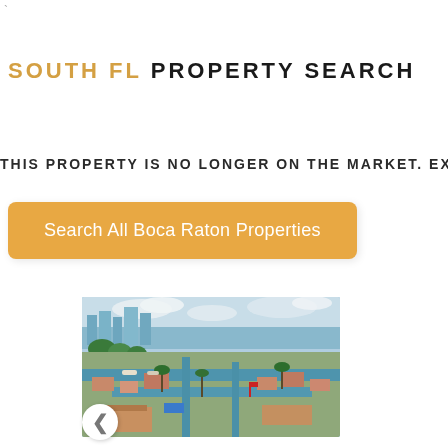SOUTH FL PROPERTY SEARCH
THIS PROPERTY IS NO LONGER ON THE MARKET. EXPLORE
Search All Boca Raton Properties
[Figure (photo): Aerial view of a waterway/canal neighborhood in Boca Raton, Florida, showing houses, boats, canals, palm trees, and city buildings in background under cloudy sky.]
<